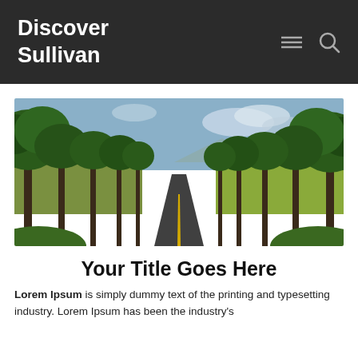Discover Sullivan
[Figure (photo): A long straight road lined with tall green trees on both sides, stretching into the distance with mountains in the background under a partly cloudy sky.]
Your Title Goes Here
Lorem Ipsum is simply dummy text of the printing and typesetting industry. Lorem Ipsum has been the industry's